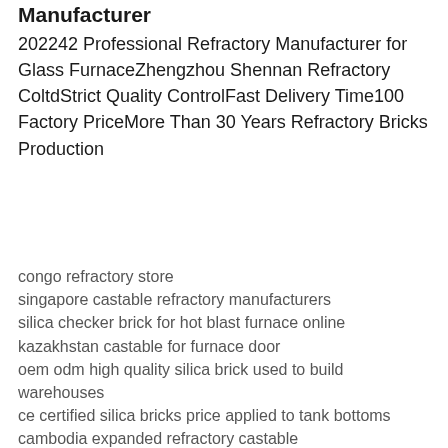Manufacturer
202242 Professional Refractory Manufacturer for Glass FurnaceZhengzhou Shennan Refractory ColtdStrict Quality ControlFast Delivery Time100 Factory PriceMore Than 30 Years Refractory Bricks Production
congo refractory store
singapore castable refractory manufacturers
silica checker brick for hot blast furnace online
kazakhstan castable for furnace door
oem odm high quality silica brick used to build warehouses
ce certified silica bricks price applied to tank bottoms
cambodia expanded refractory castable
china customized alumina silica bricks on sale
ecuador azs fused zirconium corundum brick